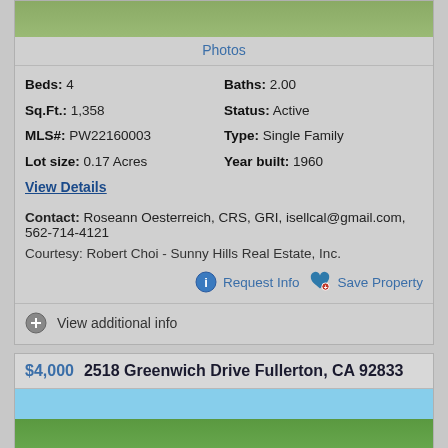[Figure (photo): Top partial property photo showing green grass/lawn area]
Photos
Beds: 4   Baths: 2.00
Sq.Ft.: 1,358   Status: Active
MLS#: PW22160003   Type: Single Family
Lot size: 0.17 Acres   Year built: 1960
View Details
Contact: Roseann Oesterreich, CRS, GRI, isellcal@gmail.com, 562-714-4121
Courtesy: Robert Choi - Sunny Hills Real Estate, Inc.
Request Info   Save Property
View additional info
$4,000  2518 Greenwich Drive Fullerton, CA 92833
[Figure (photo): Bottom partial property photo showing trees and blue sky]